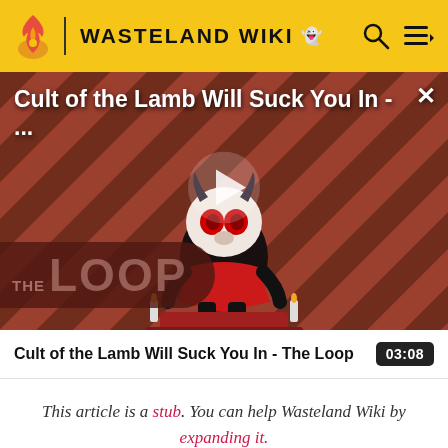WASTELAND WIKI
[Figure (screenshot): Video thumbnail for 'Cult of the Lamb Will Suck You In - The Loop' showing a cartoon lamb character on a red striped background with a play button overlay and The Loop logo at the bottom left. Video title displayed at top. Close (X) button top right.]
Cult of the Lamb Will Suck You In - The Loop  03:08
This article is a stub. You can help Wasteland Wiki by expanding it.